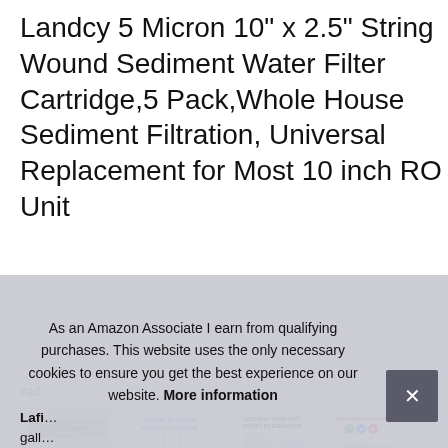Landcy 5 Micron 10" x 2.5" String Wound Sediment Water Filter Cartridge,5 Pack,Whole House Sediment Filtration, Universal Replacement for Most 10 inch RO Unit
#ad
[Figure (photo): Four product thumbnail images of water filter cartridges]
As an Amazon Associate I earn from qualifying purchases. This website uses the only necessary cookies to ensure you get the best experience on our website. More information
Lafi...
gall...
3- 6 months for the average household for optimal